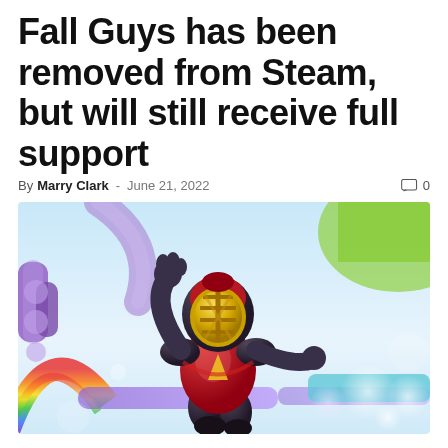Fall Guys has been removed from Steam, but will still receive full support
By Marry Clark - June 21, 2022  0
[Figure (photo): A Fall Guys character wearing a dark red knight costume with a golden helmet/face guard, jumping or falling in a colorful game environment with purple and rainbow elements in the background.]